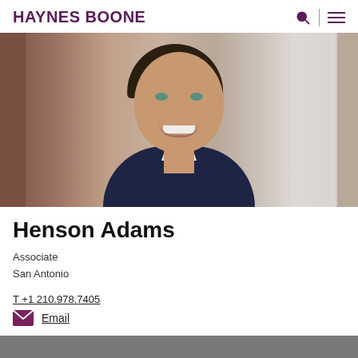HAYNES BOONE
[Figure (photo): Professional headshot of Henson Adams, a young man in a dark suit and white dress shirt, smiling, with a neutral background featuring a column or pillar on the right side.]
Henson Adams
Associate
San Antonio
T +1 210.978.7405
Email